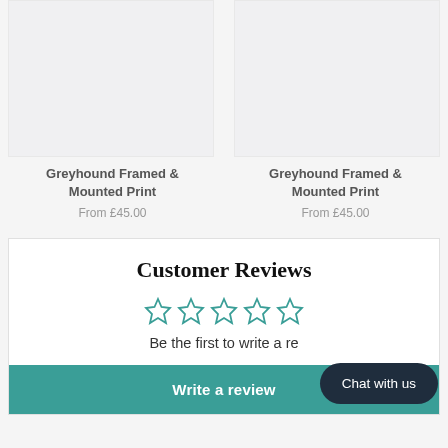[Figure (photo): Product image placeholder for Greyhound Framed & Mounted Print (left)]
Greyhound Framed & Mounted Print
From £45.00
[Figure (photo): Product image placeholder for Greyhound Framed & Mounted Print (right)]
Greyhound Framed & Mounted Print
From £45.00
Customer Reviews
[Figure (other): Five empty star rating icons in teal outline]
Be the first to write a re...
Chat with us
Write a review